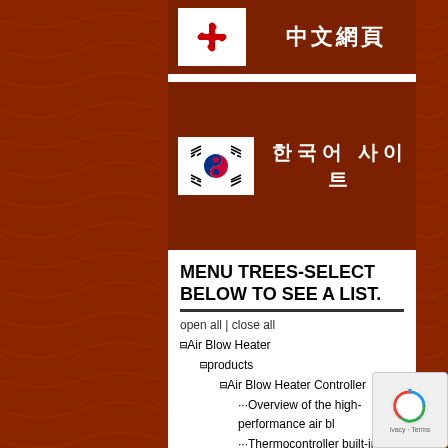[Figure (infographic): Red banner with white box containing red chrysanthemum/flower icon (Chinese flag element) on left, and Chinese text 中文網頁 in white on right]
[Figure (infographic): Red banner with white box containing South Korean flag icon on left, and Korean text 한국어 사이트 in white on right]
MENU TREES-SELECT BELOW TO SEE A LIST.
open all | close all
⊟ Air Blow Heater
⊟ products
⊟ Air Blow Heater Controller
Overview of the high-performance air bl
Thermocontroller built-in heater controll
Power Cable for Heater Controller
Overview of standard Air Blow Heater ABH
Overview of standard Double Glass tube A
Model Selection Method of Air Blow Heater